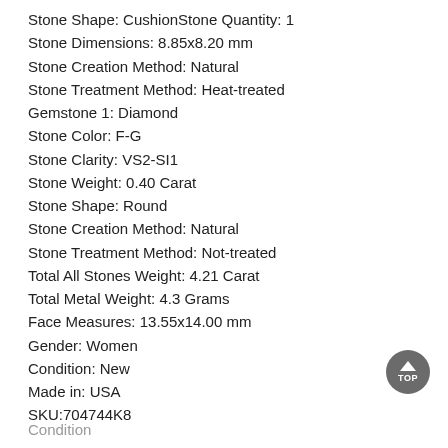Stone Shape: CushionStone Quantity: 1
Stone Dimensions: 8.85x8.20 mm
Stone Creation Method: Natural
Stone Treatment Method: Heat-treated
Gemstone 1: Diamond
Stone Color: F-G
Stone Clarity: VS2-SI1
Stone Weight: 0.40 Carat
Stone Shape: Round
Stone Creation Method: Natural
Stone Treatment Method: Not-treated
Total All Stones Weight: 4.21 Carat
Total Metal Weight: 4.3 Grams
Face Measures: 13.55x14.00 mm
Gender: Women
Condition: New
Made in: USA
SKU:704744K8
Condition